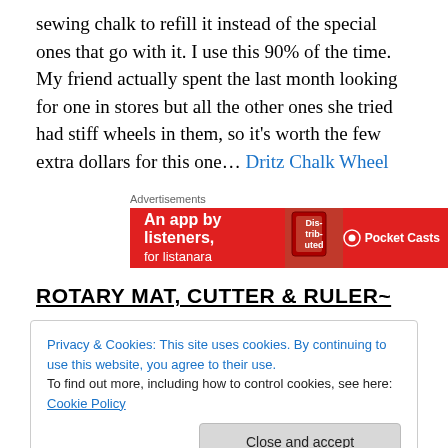sewing chalk to refill it instead of the special ones that go with it. I use this 90% of the time. My friend actually spent the last month looking for one in stores but all the other ones she tried had stiff wheels in them, so it's worth the few extra dollars for this one… Dritz Chalk Wheel
[Figure (other): Advertisement banner for Pocket Casts app: red background with text 'An app by listeners, for listeners' and Pocket Casts logo]
ROTARY MAT, CUTTER & RULER~
Privacy & Cookies: This site uses cookies. By continuing to use this website, you agree to their use.
To find out more, including how to control cookies, see here: Cookie Policy
a 6"X24" quilting ruler… I highly recommend this for